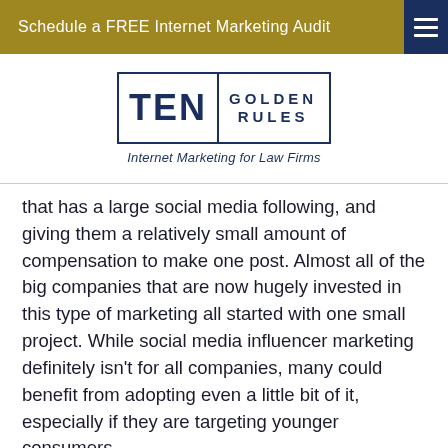Schedule a FREE Internet Marketing Audit
[Figure (logo): Ten Golden Rules – Internet Marketing for Law Firms logo with bordered box design]
that has a large social media following, and giving them a relatively small amount of compensation to make one post. Almost all of the big companies that are now hugely invested in this type of marketing all started with one small project. While social media influencer marketing definitely isn't for all companies, many could benefit from adopting even a little bit of it, especially if they are targeting younger consumers.